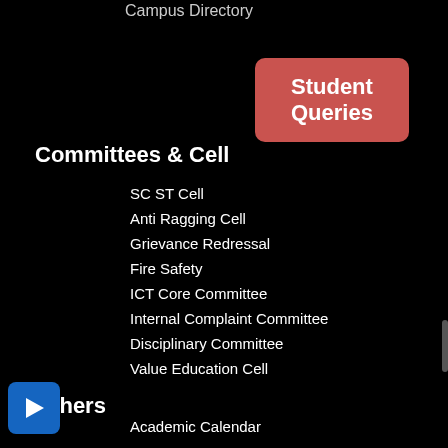Campus Directory
[Figure (other): Red rounded button labeled 'Student Queries']
Committees & Cell
SC ST Cell
Anti Ragging Cell
Grievance Redressal
Fire Safety
ICT Core Committee
Internal Complaint Committee
Disciplinary Committee
Value Education Cell
Others
Academic Calendar
List of holidays
IQAC
NIRF
NAAC